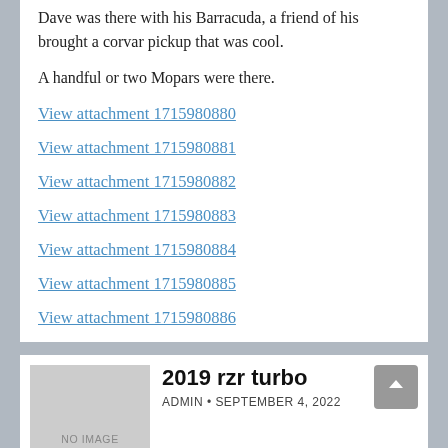Dave was there with his Barracuda, a friend of his brought a corvar pickup that was cool.
A handful or two Mopars were there.
View attachment 1715980880
View attachment 1715980881
View attachment 1715980882
View attachment 1715980883
View attachment 1715980884
View attachment 1715980885
View attachment 1715980886
View attachment 1715980888
You just gota love rat rods!...
Lulu's Car show today
2019 rzr turbo
ADMIN • SEPTEMBER 4, 2022